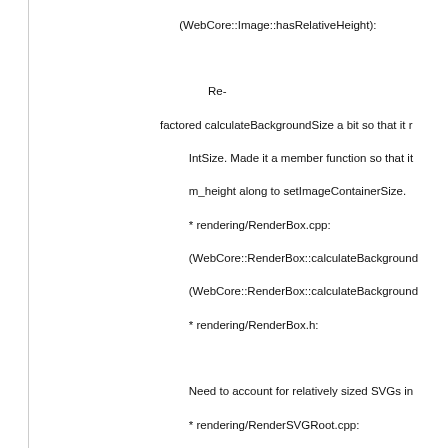(WebCore::Image::hasRelativeHeight):

Re-factored calculateBackgroundSize a bit so that it r IntSize. Made it a member function so that it m_height along to setImageContainerSize.
* rendering/RenderBox.cpp:
(WebCore::RenderBox::calculateBackground
(WebCore::RenderBox::calculateBackground
* rendering/RenderBox.h:

Need to account for relatively sized SVGs in
* rendering/RenderSVGRoot.cpp:
(WebCore::RenderSVGRoot::calcViewport):

Added new member variables to store the siz relativeWidthValue() and relativeHeightValue container size to correctly calculate the width relatively sized SVG.
* svg/SVGSVGElement.cpp:
(WebCore::SVGSVGElement::SVGSVGElem
(WebCore::SVGSVGElement::setContainerS
(WebCore::SVGSVGElement::relativeWidthV
(WebCore::SVGSVGElement::relativeHeight
* svg/SVGSVGElement.h:
(WebCore::SVGSVGElement::containerSize)

Re-factored size calculations to use the size of the co
* svg/graphics/SVGImage.cpp: